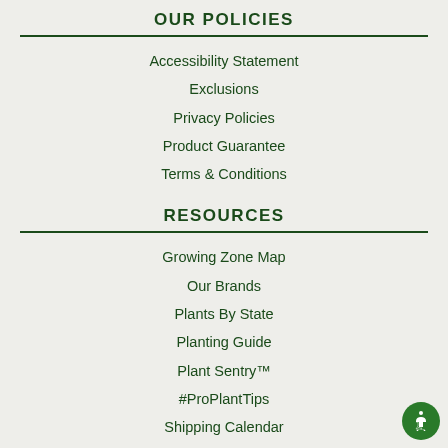OUR POLICIES
Accessibility Statement
Exclusions
Privacy Policies
Product Guarantee
Terms & Conditions
RESOURCES
Growing Zone Map
Our Brands
Plants By State
Planting Guide
Plant Sentry™
#ProPlantTips
Shipping Calendar
Smart Plant & Tree Care